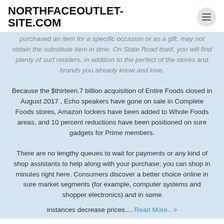NORTHFACEOUTLET-SITE.COM
purchased an item for a specific occasion or as a gift, may not obtain the substitute item in time. On State Road itself, you will find plenty of surf retailers, in addition to the perfect of the stores and brands you already know and love.
Because the $thirteen.7 billion acquisition of Entire Foods closed in August 2017 , Echo speakers have gone on sale in Complete Foods stores, Amazon lockers have been added to Whole Foods areas, and 10 percent reductions have been positioned on sure gadgets for Prime members.
There are no lengthy queues to wait for payments or any kind of shop assistants to help along with your purchase; you can shop in minutes right here. Consumers discover a better choice online in sure market segments (for example, computer systems and shopper electronics) and in some instances decrease prices....
Read More.. »